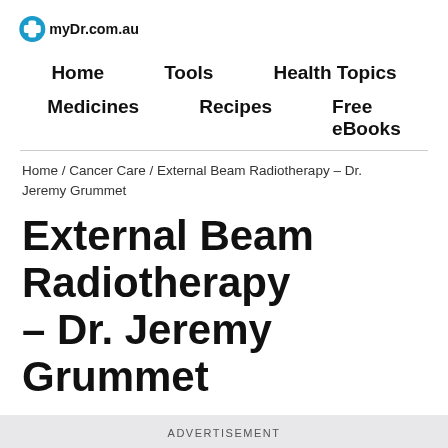myDr.com.au
Home   Tools   Health Topics   Medicines   Recipes   Free eBooks
Home / Cancer Care / External Beam Radiotherapy – Dr. Jeremy Grummet
External Beam Radiotherapy – Dr. Jeremy Grummet
ADVERTISEMENT